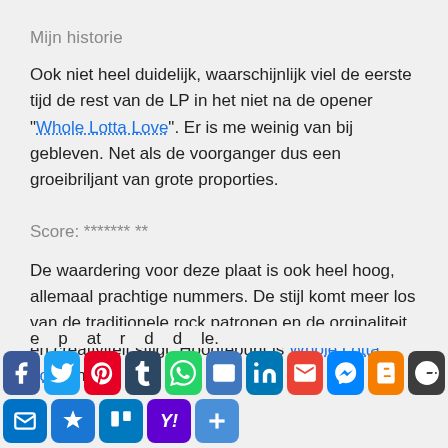Mijn historie
Ook niet heel duidelijk, waarschijnlijk viel de eerste tijd de rest van de LP in het niet na de opener "Whole Lotta Love". Er is me weinig van bij gebleven. Net als de voorganger dus een groeibriljant van grote proporties.
Score: ******* **
De waardering voor deze plaat is ook heel hoog, allemaal prachtige nummers. De stijl komt meer los van de traditionele rock patronen en de orginaliteit en creativiteit stijgt. Hoogtepunt is Whole Lotta Love, niet e... p... at... r d... d... le.
[Figure (other): Social media sharing icons bar including Facebook, Twitter, Pinterest, Tumblr, WhatsApp, Email, LinkedIn, Gmail, Messenger, Blogger, WordPress, Outlook, Pin, Trello, Yahoo, and a plus button]